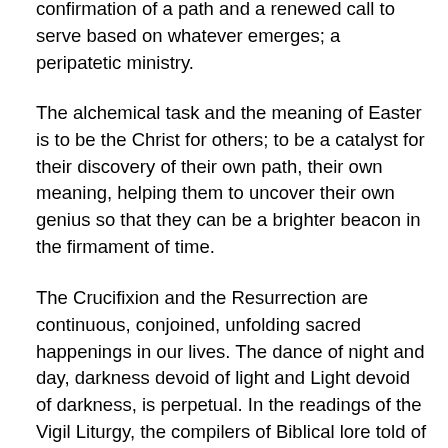confirmation of a path and a renewed call to serve based on whatever emerges; a peripatetic ministry.
The alchemical task and the meaning of Easter is to be the Christ for others; to be a catalyst for their discovery of their own path, their own meaning, helping them to uncover their own genius so that they can be a brighter beacon in the firmament of time.
The Crucifixion and the Resurrection are continuous, conjoined, unfolding sacred happenings in our lives. The dance of night and day, darkness devoid of light and Light devoid of darkness, is perpetual. In the readings of the Vigil Liturgy, the compilers of Biblical lore told of many promises made to the chosen people. These were promises that meant the foretold the end of suffering and, in being among the elect, to experience a virtually